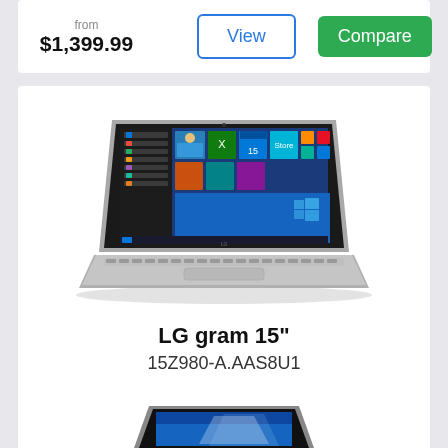from $1,399.99
View
Compare
[Figure (photo): LG gram 15 inch laptop open showing Windows 10 start screen on display, silver color]
LG gram 15"
15Z980-A.AAS8U1
$1,389.00
View
Compare
[Figure (photo): Partial view of another laptop, dark color, partially visible at bottom of page]